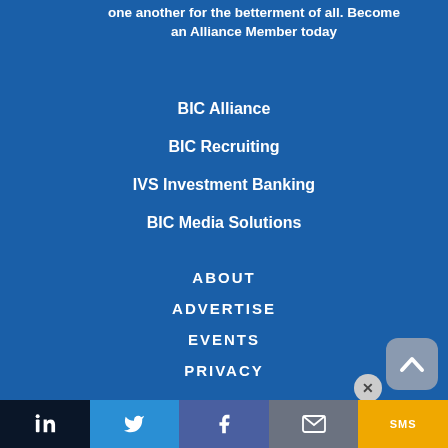one another for the betterment of all. Become an Alliance Member today
BIC Alliance
BIC Recruiting
IVS Investment Banking
BIC Media Solutions
ABOUT
ADVERTISE
EVENTS
PRIVACY
[Figure (infographic): Social sharing bar with LinkedIn, Twitter, Facebook, Email, and SMS buttons at the bottom of the page]